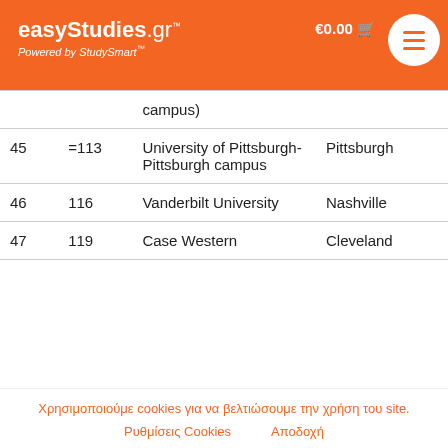easyStudies.gr™ Powered by StudySmart™ — €0.00 [cart]
| # | World Rank | University | City |
| --- | --- | --- | --- |
|  |  | campus) |  |
| 45 | =113 | University of Pittsburgh-Pittsburgh campus | Pittsburgh |
| 46 | 116 | Vanderbilt University | Nashville |
| 47 | 119 | Case Western | Cleveland |
Χρησιμοποιούμε cookies για να βελτιώσουμε την χρήση του site.
Ρυθμίσεις Cookies
Αποδοχή